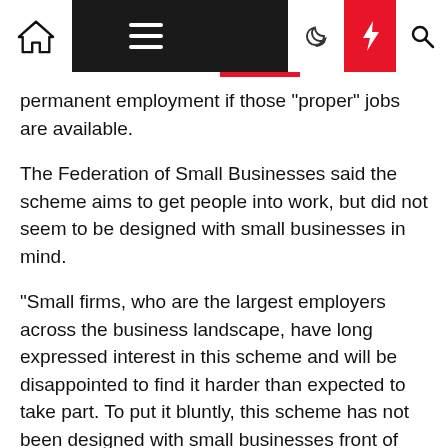[Navigation bar with home icon, menu, moon, flash, and search icons]
permanent employment if those "proper" jobs are available.
The Federation of Small Businesses said the scheme aims to get people into work, but did not seem to be designed with small businesses in mind.
“Small firms, who are the largest employers across the business landscape, have long expressed interest in this scheme and will be disappointed to find it harder than expected to take part. To put it bluntly, this scheme has not been designed with small businesses front of mind,” said FSB national chair Mike Cherry.
“Crucially it is more difficult to access for those hiring fewer than 30 roles through the scheme, who as it stands will need to find intermediaries."